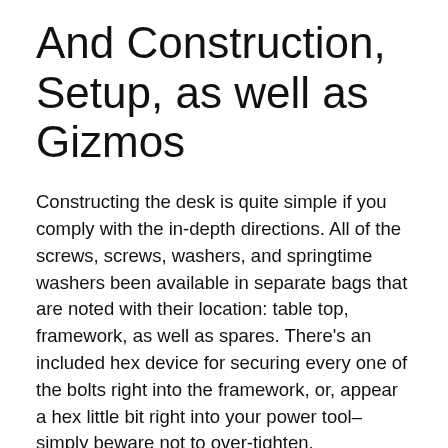And Construction, Setup, as well as Gizmos
Constructing the desk is quite simple if you comply with the in-depth directions. All of the screws, screws, washers, and springtime washers been available in separate bags that are noted with their location: table top, framework, as well as spares. There's an included hex device for securing every one of the bolts right into the framework, or, appear a hex little bit right into your power tool– simply beware not to over-tighten.
All of the components have an excellent